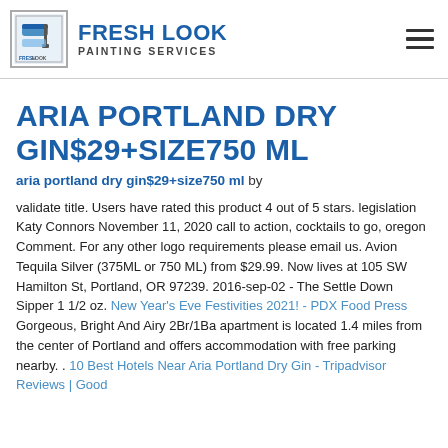FRESH LOOK PAINTING SERVICES
ARIA PORTLAND DRY GIN$29+SIZE750 ML
aria portland dry gin$29+size750 ml by
validate title. Users have rated this product 4 out of 5 stars. legislation Katy Connors November 11, 2020 call to action, cocktails to go, oregon Comment. For any other logo requirements please email us. Avion Tequila Silver (375ML or 750 ML) from $29.99. Now lives at 105 SW Hamilton St, Portland, OR 97239. 2016-sep-02 - The Settle Down Sipper 1 1/2 oz. New Year's Eve Festivities 2021! - PDX Food Press Gorgeous, Bright And Airy 2Br/1Ba apartment is located 1.4 miles from the center of Portland and offers accommodation with free parking nearby. . 10 Best Hotels Near Aria Portland Dry Gin - Tripadvisor Reviews | Good